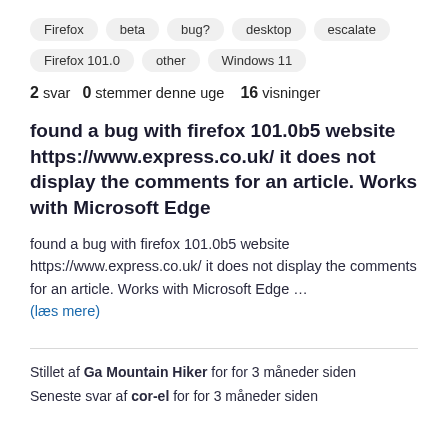Firefox  beta  bug?  desktop  escalate
Firefox 101.0  other  Windows 11
2 svar  0 stemmer denne uge  16 visninger
found a bug with firefox 101.0b5 website https://www.express.co.uk/ it does not display the comments for an article. Works with Microsoft Edge
found a bug with firefox 101.0b5 website https://www.express.co.uk/ it does not display the comments for an article. Works with Microsoft Edge …
(læs mere)
Stillet af Ga Mountain Hiker for for 3 måneder siden
Seneste svar af cor-el for for 3 måneder siden